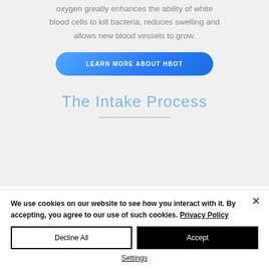oxygen greatly enhances the ability of white blood cells to kill bacteria, reduces swelling and allows new blood vessels to grow.
LEARN MORE ABOUT HBOT
The Intake Process
We use cookies on our website to see how you interact with it. By accepting, you agree to our use of such cookies. Privacy Policy
Decline All
Accept
Settings